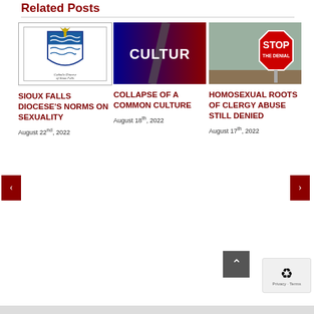Related Posts
[Figure (photo): Catholic Diocese of Sioux Falls logo - shield with waves and text]
[Figure (photo): CULTURE text on dark blue to red gradient background with diagonal slash]
[Figure (photo): STOP sign photo with text THE DENIAL below STOP]
SIOUX FALLS DIOCESE'S NORMS ON SEXUALITY
August 22nd, 2022
COLLAPSE OF A COMMON CULTURE
August 18th, 2022
HOMOSEXUAL ROOTS OF CLERGY ABUSE STILL DENIED
August 17th, 2022